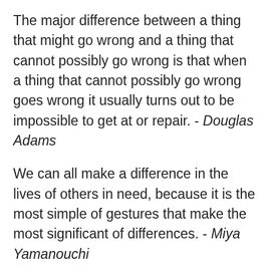The major difference between a thing that might go wrong and a thing that cannot possibly go wrong is that when a thing that cannot possibly go wrong goes wrong it usually turns out to be impossible to get at or repair. - Douglas Adams
We can all make a difference in the lives of others in need, because it is the most simple of gestures that make the most significant of differences. - Miya Yamanouchi
Our prayers may be awkward. Our attempts may be feeble. But since the power of prayer is in the One who hears it and not in the one who says it,